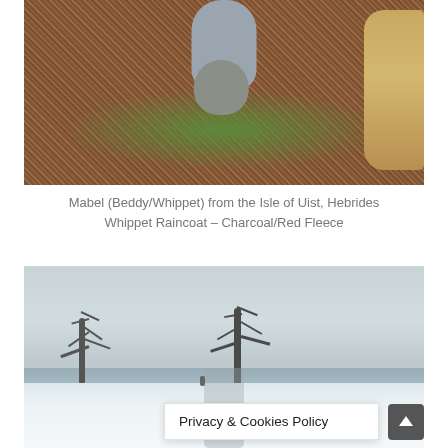[Figure (photo): Aerial/overhead view of two dogs on pine straw and grass ground. One dog in the center wearing a gray jacket/raincoat, looking up at camera. Another golden/tan dog visible on the right side. The ground shows brown pine straw and patches of green grass.]
Mabel (Beddy/Whippet) from the Isle of Uist, Hebrides
Whippet Raincoat – Charcoal/Red Fleece
[Figure (photo): Winter snow scene with bare deciduous trees in foreground, snowy ground, a distant treeline, and what appears to be a path or road. The image is desaturated/wintry in tone. A small figure is barely visible in the distance. A Privacy & Cookies Policy banner overlays the bottom portion of the image, and a scroll-to-top button is in the bottom right corner.]